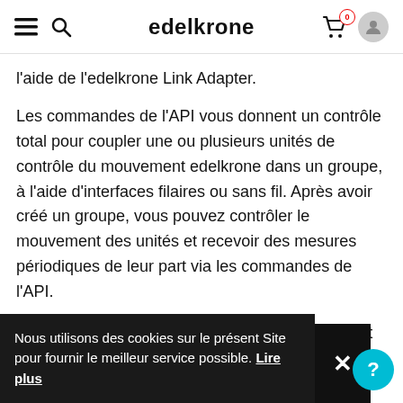edelkrone
l'aide de l'edelkrone Link Adapter.
Les commandes de l'API vous donnent un contrôle total pour coupler une ou plusieurs unités de contrôle du mouvement edelkrone dans un groupe, à l'aide d'interfaces filaires ou sans fil. Après avoir créé un groupe, vous pouvez contrôler le mouvement des unités et recevoir des mesures périodiques de leur part via les commandes de l'API.
edelkrone SDK est actuellement en phase bêta et ne prend en charge que les commandes de contrôle du mouvement de haut niveau qui vous permettent de déplacer les axes via les commandes de la manette ou
Nous utilisons des cookies sur le présent Site pour fournir le meilleur service possible. Lire plus